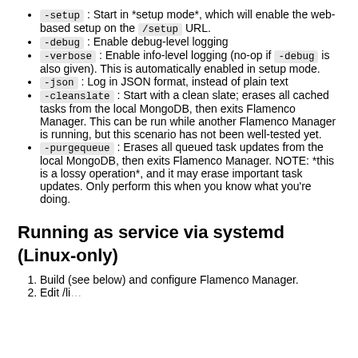-setup : Start in *setup mode*, which will enable the web-based setup on the /setup URL.
-debug : Enable debug-level logging
-verbose : Enable info-level logging (no-op if -debug is also given). This is automatically enabled in setup mode.
-json : Log in JSON format, instead of plain text
-cleanslate : Start with a clean slate; erases all cached tasks from the local MongoDB, then exits Flamenco Manager. This can be run while another Flamenco Manager is running, but this scenario has not been well-tested yet.
-purgequeue : Erases all queued task updates from the local MongoDB, then exits Flamenco Manager. NOTE: *this is a lossy operation*, and it may erase important task updates. Only perform this when you know what you're doing.
Running as service via systemd (Linux-only)
Build (see below) and configure Flamenco Manager.
Edit /lib...